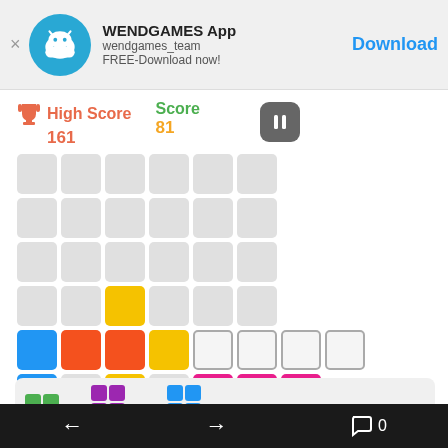[Figure (screenshot): App advertisement banner for WENDGAMES App showing android mascot icon, app name, username wendgames_team, FREE-Download now text, and Download button]
[Figure (screenshot): Block puzzle game screenshot showing High Score 161, Score 81, pause button, game grid with colored blocks (blue, orange, yellow, green, pink, purple) and empty gray cells, and piece selector panel at bottom]
[Figure (screenshot): Navigation bar with back arrow, forward arrow, comment icon and 0 count]